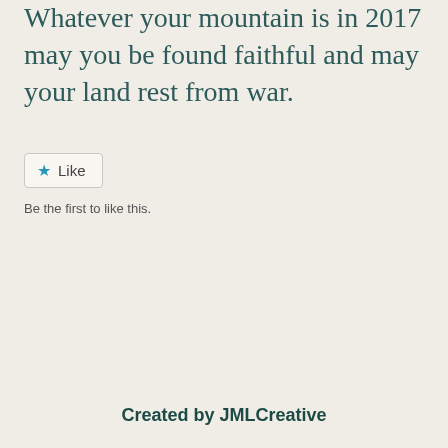Whatever your mountain is in 2017 may you be found faithful and may your land rest from war.
[Figure (other): A 'Like' button with a blue star icon and the label 'Like']
Be the first to like this.
Created by JMLCreative